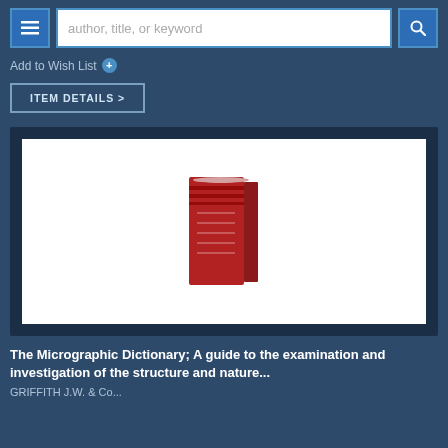author, title, or keyword
Add to Wish List
ITEM DETAILS >
[Figure (photo): A small red leather-bound book standing upright on a white background]
The Micrographic Dictionary; A guide to the examination and investigation of the structure and nature...
GRIFFITH J.W. & Co.